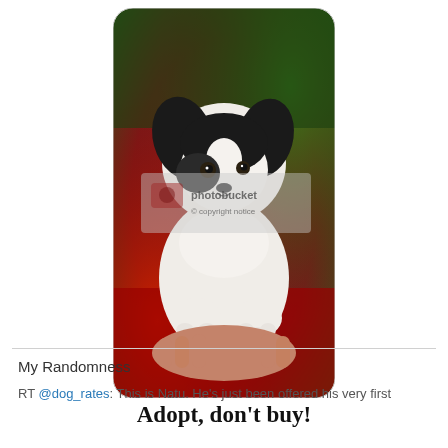[Figure (photo): A black and white puppy being held in someone's hands against a red and green blurred background. There is a Photobucket watermark overlay on the image. Text below reads 'Adopt, don't buy!']
Adopt, don't buy!
My Randomness
RT @dog_rates: This is Natu. He's just been offered his very first